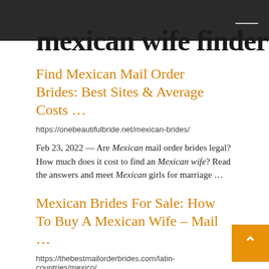mexican wife finder
Find Mexican Mail Order Brides: Best Sites & Average Costs ...
https://onebeautifulbride.net/mexican-brides/
Feb 23, 2022 — Are Mexican mail order brides legal? How much does it cost to find an Mexican wife? Read the answers and meet Mexican girls for marriage ...
Mexican Brides For Sale: How To Buy A Mexican Wife – Mail ...
https://thebestmailorderbrides.com/latin-countries/mexico/